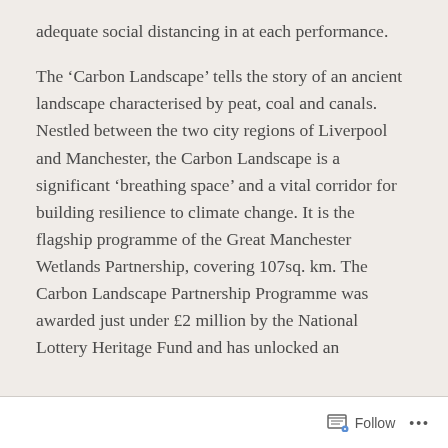adequate social distancing in at each performance.
The ‘Carbon Landscape’ tells the story of an ancient landscape characterised by peat, coal and canals. Nestled between the two city regions of Liverpool and Manchester, the Carbon Landscape is a significant ‘breathing space’ and a vital corridor for building resilience to climate change. It is the flagship programme of the Great Manchester Wetlands Partnership, covering 107sq. km. The Carbon Landscape Partnership Programme was awarded just under £2 million by the National Lottery Heritage Fund and has unlocked an
Follow ...